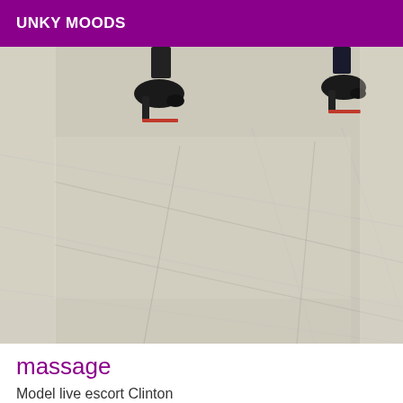UNKY MOODS
[Figure (photo): Close-up photo of feet wearing black high heel shoes standing on a light-colored tile floor with grout lines visible]
massage
Model live escort Clinton